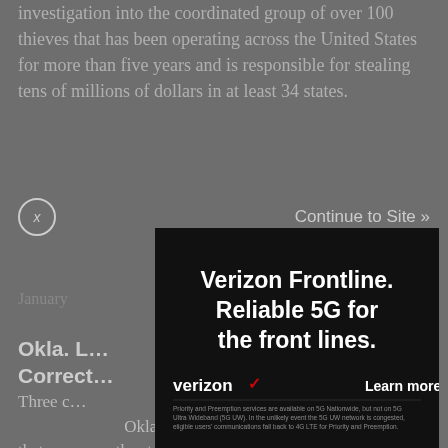investigation into the coordinated group of over 100 thieves that has been operating across the United States for more than five years and is responsible for stealing tens of millions of dollars in at least 34 states.
Continue to Site »
January
Okla. L… to Save Correct…
Three c… the Joseph … Okla., have created a data collection program that may save the state millions of dollars, say three state representatives.
[Figure (screenshot): Verizon Frontline advertisement overlay on a news article page. Black background with white bold text reading 'Verizon Frontline. Reliable 5G for the front lines.' Verizon logo with red checkmark at bottom left, 'Learn more >' at bottom right, and small disclaimer text at the bottom.]